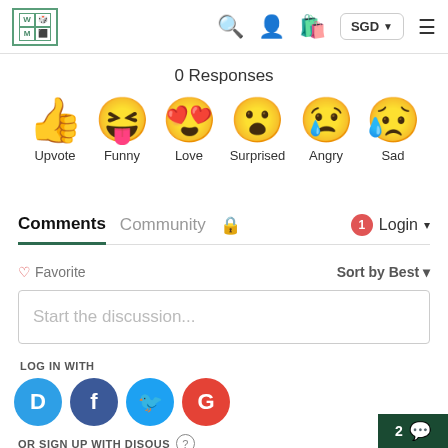[Figure (screenshot): Website navigation bar with logo, search, user, cart icons, SGD currency selector, and hamburger menu]
0 Responses
[Figure (infographic): Six reaction emoji icons: Upvote (thumbs up), Funny (laughing face), Love (heart eyes), Surprised (surprised face), Angry (crying angry face), Sad (sad crying face)]
Comments  Community  🔒  1  Login
♡ Favorite   Sort by Best
Start the discussion...
LOG IN WITH
[Figure (logo): Social login icons: Disqus (D), Facebook (f), Twitter bird, Google (G)]
OR SIGN UP WITH DISQUS ?
2 💬